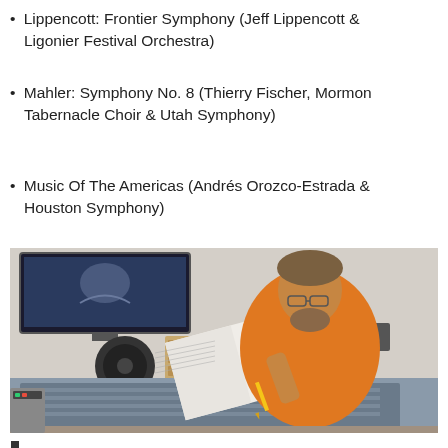Lippencott: Frontier Symphony (Jeff Lippencott & Ligonier Festival Orchestra)
Mahler: Symphony No. 8 (Thierry Fischer, Mormon Tabernacle Choir & Utah Symphony)
Music Of The Americas (Andrés Orozco-Estrada & Houston Symphony)
[Figure (photo): A man in an orange shirt sitting at a large audio mixing console in a recording studio, smiling at the camera. He has curly grey-brown hair and glasses, and is holding a pencil over an open musical score. Behind him are studio monitors, a rack unit, and a large screen displaying a conductor.]